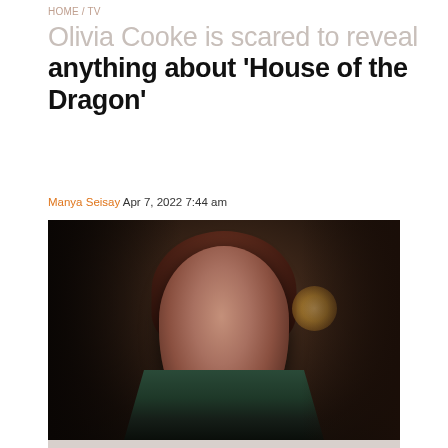HOME / TV
Olivia Cooke is scared to reveal anything about ‘House of the Dragon’
Manya Seisay Apr 7, 2022 7:44 am
[Figure (photo): Actress Olivia Cooke in period costume as Alicent Hightower from House of the Dragon, wearing a dark green and gold gown with a jeweled necklace, photographed in a dark medieval-style setting with warm torch lighting in the background.]